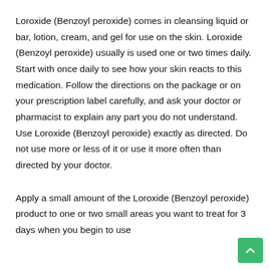Loroxide (Benzoyl peroxide) comes in cleansing liquid or bar, lotion, cream, and gel for use on the skin. Loroxide (Benzoyl peroxide) usually is used one or two times daily. Start with once daily to see how your skin reacts to this medication. Follow the directions on the package or on your prescription label carefully, and ask your doctor or pharmacist to explain any part you do not understand. Use Loroxide (Benzoyl peroxide) exactly as directed. Do not use more or less of it or use it more often than directed by your doctor.
Apply a small amount of the Loroxide (Benzoyl peroxide) product to one or two small areas you want to treat for 3 days when you begin to use